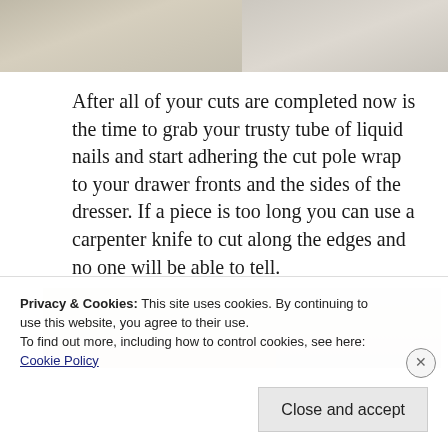[Figure (photo): Two side-by-side photos showing floor/room items, left photo shows tile floor with small object, right photo shows furniture near wall]
After all of your cuts are completed now is the time to grab your trusty tube of liquid nails and start adhering the cut pole wrap to your drawer fronts and the sides of the dresser. If a piece is too long you can use a carpenter knife to cut along the edges and no one will be able to tell.
[Figure (photo): Two side-by-side photos showing a dresser with pole wrap applied to the drawer fronts, one photo showing left side and one showing right side]
Privacy & Cookies: This site uses cookies. By continuing to use this website, you agree to their use.
To find out more, including how to control cookies, see here:
Cookie Policy
Close and accept